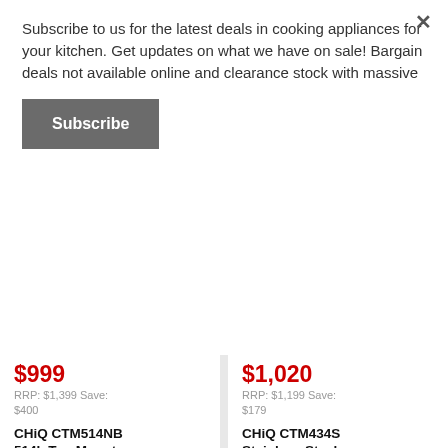Subscribe to us for the latest deals in cooking appliances for your kitchen. Get updates on what we have on sale! Bargain deals not available online and clearance stock with massive
Subscribe
×
$999
RRP: $1,399 Save: $400
CHiQ CTM514NB 514L Top Mount Black Fridge
CHIQ
$1,020
RRP: $1,199 Save: $179
CHiQ CTM434S Stainless Steel 435L Top Mount Fridge
CHIQ
Add to cart
Add to cart